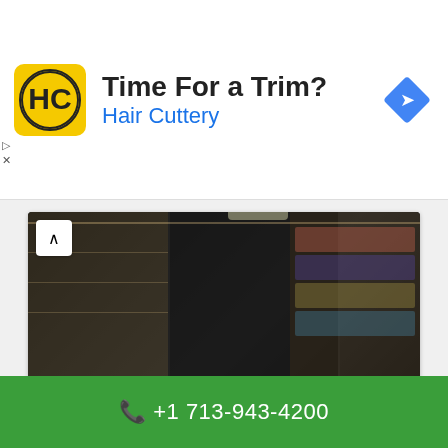[Figure (infographic): Hair Cuttery advertisement banner with logo, tagline 'Time For a Trim?', brand name, and navigation icon]
[Figure (photo): Interior photo of Sneaker Summit store showing shoe displays and shelves]
Sneaker Summit
3814 S Shepherd Dr, Houston, TX 77098, USA
[Figure (photo): Exterior photo of building with sky background]
+1 713-943-4200